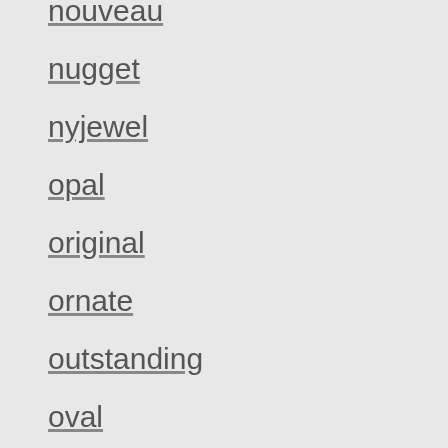nouveau
nugget
nyjewel
opal
original
ornate
outstanding
oval
paiza
panda
paraiba
pave
pear